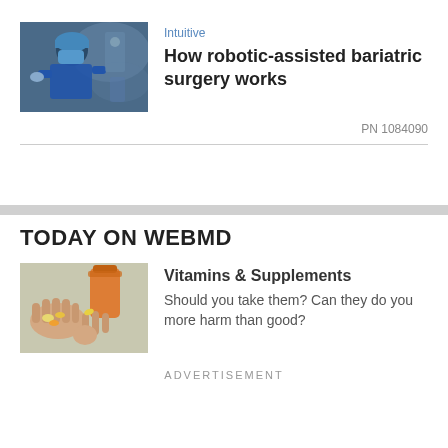[Figure (photo): Surgeon in blue scrubs and mask in an operating room setting]
Intuitive
How robotic-assisted bariatric surgery works
PN 1084090
TODAY ON WEBMD
[Figure (photo): Hands holding vitamins/supplements with orange bottle in background]
Vitamins & Supplements
Should you take them? Can they do you more harm than good?
ADVERTISEMENT